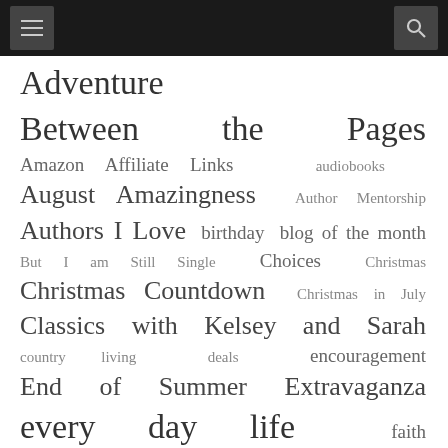[Navigation header with hamburger menu and search icon]
Adventure Between the Pages Amazon Affiliate Links audiobooks August Amazingness Author Mentorship Authors I Love birthday blog of the month But I am Still Single Choices Christmas Christmas Countdown Christmas in July Classics with Kelsey and Sarah country living deals encouragement End of Summer Extravaganza every day life faith Faith to start your week Fall family Fanny's Hope Chest Finds of the Week Five Fall Favorites Five Little Women free friends giveaway Great Writing holiday